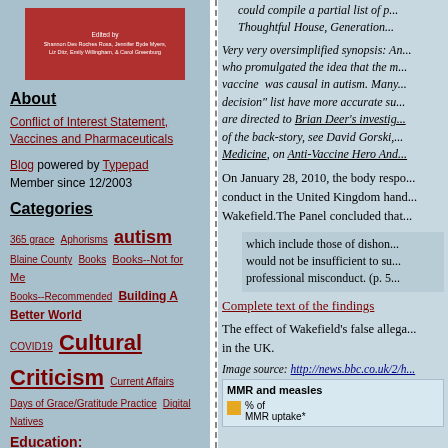[Figure (photo): Red book cover with white text showing editor names]
About
Conflict of Interest Statement, Vaccines and Pharmaceuticals
Blog powered by Typepad
Member since 12/2003
Categories
365 grace  Aphorisms  autism  Blaine County  Books  Books--Not for Me  Books--Recommended  Building A Better World  COVID19  Cultural Criticism  Current Affairs  Days of Grace/Gratitude Practice  Digital Natives  Education: Independent And Private Schools  Education: Public Schools  Education: Therapeutic And Proprietary Schools  Educational Therapy  electoral politics  Emergency Preparedness  Essays  Everyday Heroes. And Heroines.  Fitness Story  Gardening  Giving Suggestions
could compile a partial list of... Thoughtful House, Generation...
Very very oversimplified synopsis: An... who promulgated the idea that the m... vaccine was causal in autism. Many... decision" list have more accurate su... are directed to Brian Deer's investig... of the back-story, see David Gorski,... Medicine, on Anti-Vaccine Hero And...
On January 28, 2010, the body respo... conduct in the United Kingdom hand... Wakefield. The Panel concluded that...
which include those of dishon... would not be insufficient to su... professional misconduct. (p. 5...
Complete text of the findings
The effect of Wakefield's false allega... in the UK.
Image source: http://news.bbc.co.uk/2/h...
[Figure (infographic): MMR and measles chart showing % of MMR uptake with orange/yellow square legend indicator]